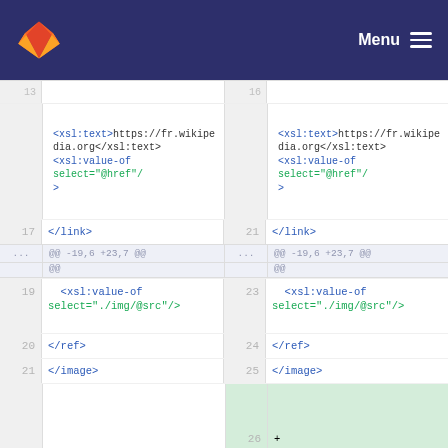Menu
[Figure (screenshot): GitLab code diff view showing XSL code with line numbers on left (17,19,20,21) and right (21,23,24,25), displaying XML/XSL tags including xsl:text, xsl:value-of select attributes, /link, /ref, /image elements]
<xsl:text>https://fr.wikipedia.org</xsl:text><xsl:value-of select="@href"/>
</link>
@@ -19,6 +23,7 @@
<xsl:value-of select="./img/@src"/>
</ref>
</antml:image>